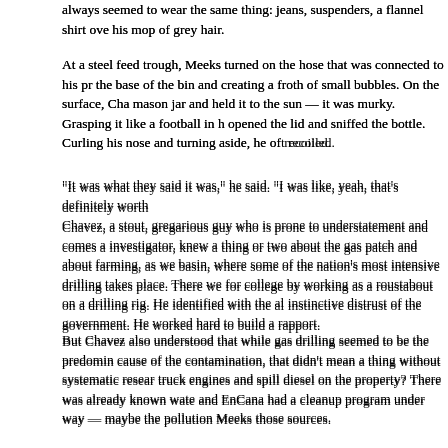always seemed to wear the same thing: jeans, suspenders, a flannel shirt over his mop of grey hair.
At a steel feed trough, Meeks turned on the hose that was connected to his pr the base of the bin and creating a froth of small bubbles. On the surface, Cha mason jar and held it to the sun — it was murky. Grasping it like a football in h opened the lid and sniffed the bottle. Curling his nose and turning aside, he of recoiled.
“It was what they said it was,” he said. “I was like, yeah, that’s definitely worth
Chavez, a stout, gregarious guy who is prone to understatement and comes a investigator, knew a thing or two about the gas patch and about farming, as w basin, where some of the nation’s most intensive drilling takes place. There w for college by working as a roustabout on a drilling rig. He identified with the a instinctive distrust of the government. He worked hard to build a rapport.
But Chavez also understood that while gas drilling seemed to be the predomi cause of the contamination, that didn’t mean a thing without systematic resear truck engines and spill diesel on the property? There was already known wate and EnCana had a cleanup program under way — maybe the pollution Meeks those sources.
“We try to brainstorm what else it could be,” Chavez says. “A lot of times realit
In March 2009, six weeks after President Obama’s inauguration and four year from the EPA’s Superfund program began collecting 39 water samples from p investigation into complaints of water pollution in Pavillion after many years of office and even a couple of lawsuits. Across the mountains in Pinedale, Oberl aquifer underneath the Anticline drilling fields — where he’d found the benze broader body of data. The EPA scientists preferred to keep a low profile and d returned from any perceived assault on the oil and gas industry. But, in effect, of the environmental effects of natural gas drilling on the nation’s water supply
By this time, complaints about water contamination in drilling areas had bee